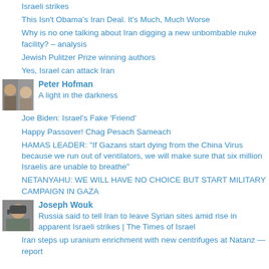Israeli strikes
This Isn't Obama's Iran Deal. It's Much, Much Worse
Why is no one talking about Iran digging a new unbombable nuke facility? – analysis
Jewish Pulitzer Prize winning authors
Yes, Israel can attack Iran
Peter Hofman
A light in the darkness
Joe Biden: Israel's Fake 'Friend'
Happy Passover! Chag Pesach Sameach
HAMAS LEADER: "If Gazans start dying from the China Virus because we run out of ventilators, we will make sure that six million Israelis are unable to breathe"
NETANYAHU: WE WILL HAVE NO CHOICE BUT START MILITARY CAMPAIGN IN GAZA
Joseph Wouk
Russia said to tell Iran to leave Syrian sites amid rise in apparent Israeli strikes | The Times of Israel
Iran steps up uranium enrichment with new centrifuges at Natanz — report